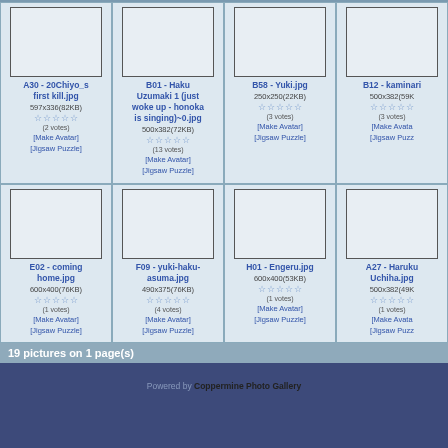[Figure (other): Gallery thumbnail grid - row 1 and row 2 of photo thumbnails]
A30 - 20Chiyo_s first kill.jpg 597x336(82KB) (2 votes) [Make Avatar] [Jigsaw Puzzle]
B01 - Haku Uzumaki 1 (just woke up - honoka is singing)~0.jpg 500x382(72KB) (13 votes) [Make Avatar] [Jigsaw Puzzle]
B58 - Yuki.jpg 250x250(22KB) (3 votes) [Make Avatar] [Jigsaw Puzzle]
B12 - kaminari 500x382(59K) (3 votes) [Make Avatar] [Jigsaw Puzz]
E02 - coming home.jpg 600x400(76KB) (1 votes) [Make Avatar] [Jigsaw Puzzle]
F09 - yuki-haku-asuma.jpg 490x375(76KB) (4 votes) [Make Avatar] [Jigsaw Puzzle]
H01 - Engeru.jpg 600x400(53KB) (1 votes) [Make Avatar] [Jigsaw Puzzle]
A27 - Haruku Uchiha.jpg 500x382(49K) (1 votes) [Make Avatar] [Jigsaw Puzz]
19 pictures on 1 page(s)
Powered by Coppermine Photo Gallery